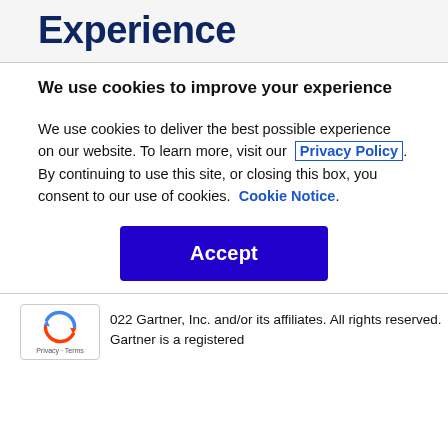Experience
We use cookies to improve your experience
We use cookies to deliver the best possible experience on our website. To learn more, visit our  Privacy Policy . By continuing to use this site, or closing this box, you consent to our use of cookies.  Cookie Notice .
Accept
022 Gartner, Inc. and/or its affiliates. All rights reserved. Gartner is a registered